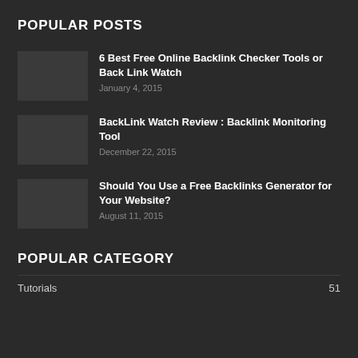POPULAR POSTS
6 Best Free Online Backlink Checker Tools or Back Link Watch
January 4, 2015
BackLink Watch Review : Backlink Monitoring Tool
December 22, 2015
Should You Use a Free Backlinks Generator for Your Website?
August 11, 2015
POPULAR CATEGORY
Tutorials    51